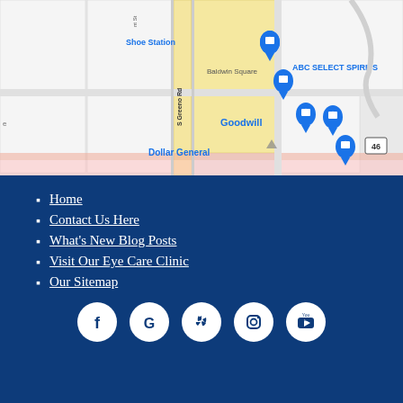[Figure (map): Google Maps screenshot showing S Greeno Rd area with markers for Shoe Station, Baldwin Square, Goodwill, ABC Select Spirits, Dollar General, and a highway 46 sign.]
Home
Contact Us Here
What's New Blog Posts
Visit Our Eye Care Clinic
Our Sitemap
[Figure (other): Social media icons row: Facebook, Google, Yelp, Instagram, YouTube — white icons on dark blue background in white circles.]